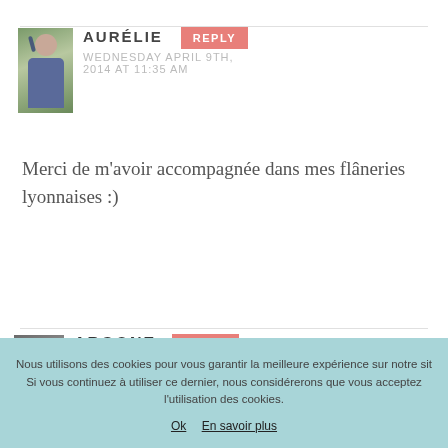AURÉLIE — REPLY — WEDNESDAY APRIL 9TH, 2014 AT 11:35 AM
Merci de m'avoir accompagnée dans mes flâneries lyonnaises :)
ARGONE — REPLY — MONDAY APRIL 7TH, 2014 AT 12:13 PM
Nous utilisons des cookies pour vous garantir la meilleure expérience sur notre sit. Si vous continuez à utiliser ce dernier, nous considérerons que vous acceptez l'utilisation des cookies. Ok En savoir plus